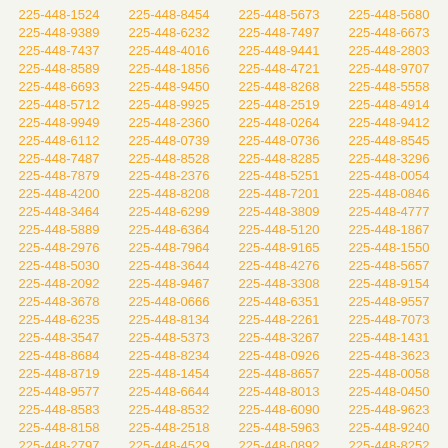225-448-1524 225-448-8454 225-448-5673 225-448-5680 225-448-9389 225-448-6232 225-448-7497 225-448-6673 225-448-7437 225-448-4016 225-448-9441 225-448-2803 225-448-8589 225-448-1856 225-448-4721 225-448-9707 225-448-6693 225-448-9450 225-448-8268 225-448-5558 225-448-5712 225-448-9925 225-448-2519 225-448-4914 225-448-9949 225-448-2360 225-448-0264 225-448-9412 225-448-6112 225-448-0739 225-448-0736 225-448-8545 225-448-7487 225-448-8528 225-448-8285 225-448-3296 225-448-7879 225-448-2376 225-448-5251 225-448-0054 225-448-4200 225-448-8208 225-448-7201 225-448-0846 225-448-3464 225-448-6299 225-448-3809 225-448-4777 225-448-5889 225-448-6364 225-448-5120 225-448-1867 225-448-2976 225-448-7964 225-448-9165 225-448-1550 225-448-5030 225-448-3644 225-448-4276 225-448-5657 225-448-2092 225-448-9467 225-448-3308 225-448-9154 225-448-3678 225-448-0666 225-448-6351 225-448-9557 225-448-6235 225-448-8134 225-448-2261 225-448-7073 225-448-3547 225-448-5373 225-448-3267 225-448-1431 225-448-8684 225-448-8234 225-448-0926 225-448-3623 225-448-8719 225-448-1454 225-448-8657 225-448-0058 225-448-9577 225-448-6644 225-448-8013 225-448-0450 225-448-8583 225-448-8532 225-448-6090 225-448-9623 225-448-8158 225-448-2518 225-448-5963 225-448-9240 225-448-2797 225-448-4529 225-448-0892 225-448-8252 225-448-9919 225-448-5612 225-448-4371 225-448-7419 225-448-5051 225-448-1544 225-448-2285 225-448-7181 225-448-3291 225-448-1011 225-448-9405 225-448-0125 225-448-8768 225-448-8418 225-448-8410 225-448-5389 225-448-3046 225-448-9725 225-448-2648 225-448-6201